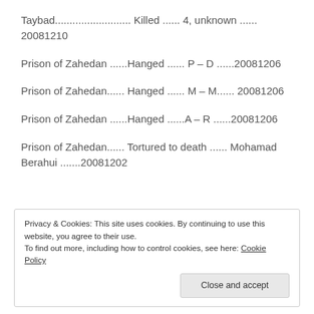Taybad.......................... Killed ...... 4, unknown ...... 20081210
Prison of Zahedan ......Hanged ...... P – D ......20081206
Prison of Zahedan...... Hanged ...... M – M...... 20081206
Prison of Zahedan ......Hanged ......A – R ......20081206
Prison of Zahedan...... Tortured to death ...... Mohamad Berahui .......20081202
Privacy & Cookies: This site uses cookies. By continuing to use this website, you agree to their use.
To find out more, including how to control cookies, see here: Cookie Policy
Close and accept